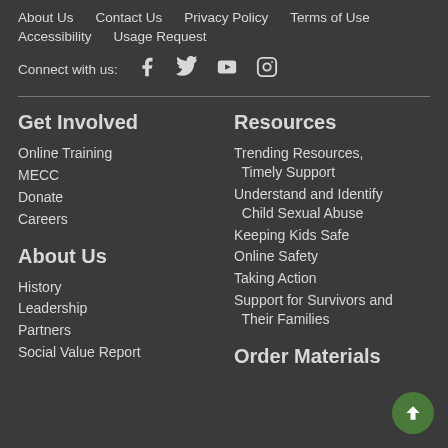About Us  Contact Us  Privacy Policy  Terms of Use  Accessibility  Usage Request
Connect with us: [Facebook] [Twitter] [YouTube] [Instagram]
Get Involved
Online Training
MECC
Donate
Careers
About Us
History
Leadership
Partners
Social Value Report
Resources
Trending Resources, Timely Support
Understand and Identify Child Sexual Abuse
Keeping Kids Safe
Online Safety
Taking Action
Support for Survivors and Their Families
Order Materials